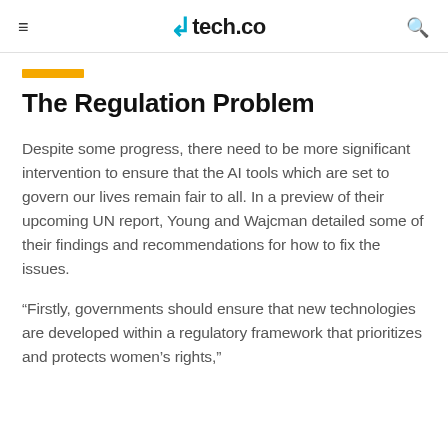≡  tech.co  🔍
The Regulation Problem
Despite some progress, there need to be more significant intervention to ensure that the AI tools which are set to govern our lives remain fair to all. In a preview of their upcoming UN report, Young and Wajcman detailed some of their findings and recommendations for how to fix the issues.
“Firstly, governments should ensure that new technologies are developed within a regulatory framework that prioritizes and protects women’s rights,”